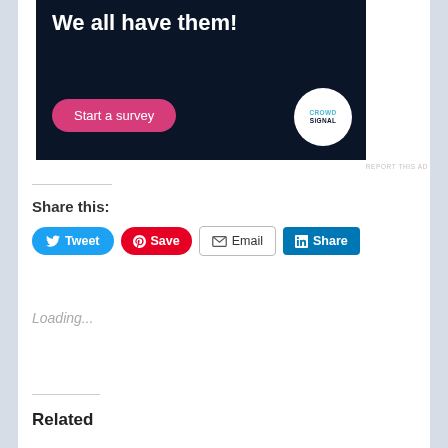[Figure (screenshot): Advertisement banner with dark navy background showing 'We all have them!' text, a pink 'Start a survey' button, and CrowdSignal logo circle]
REPORT THIS AD
Share this:
[Figure (infographic): Social share buttons: Tweet (blue), Save (red Pinterest), Email (grey outlined), Share (LinkedIn blue)]
Loading...
Related